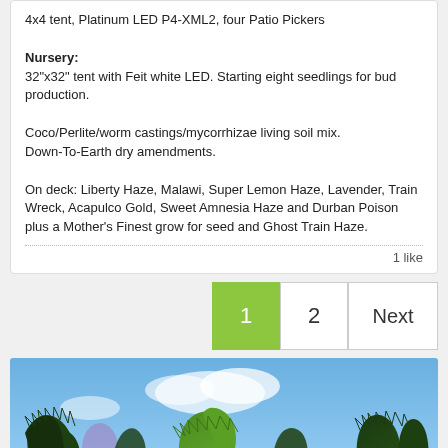4x4 tent, Platinum LED P4-XML2, four Patio Pickers

Nursery:
32"x32" tent with Feit white LED. Starting eight seedlings for bud production.

Coco/Perlite/worm castings/mycorrhizae living soil mix.
Down-To-Earth dry amendments.

On deck: Liberty Haze, Malawi, Super Lemon Haze, Lavender, Train Wreck, Acapulco Gold, Sweet Amnesia Haze and Durban Poison plus a Mother's Finest grow for seed and Ghost Train Haze.
1 like
1  2  Next
[Figure (photo): Close-up photo of cannabis plant leaves against a blue sky background. Dark green serrated leaves are shown from below, with bright green lighter leaves in the center. The sky is blue with some white clouds.]